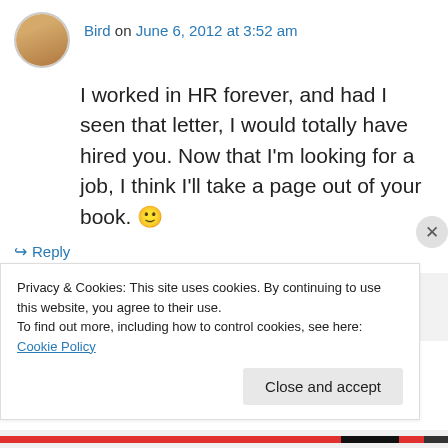Bird on June 6, 2012 at 3:52 am
I worked in HR forever, and had I seen that letter, I would totally have hired you. Now that I'm looking for a job, I think I'll take a page out of your book. 🙂
↳ Reply
edrevets on June 9, 2012 at 2:47 pm
Privacy & Cookies: This site uses cookies. By continuing to use this website, you agree to their use.
To find out more, including how to control cookies, see here: Cookie Policy
Close and accept